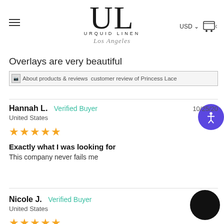[Figure (logo): Urquid Linen Los Angeles logo with large UL monogram and script tagline]
Overlays are very beautiful
[Figure (screenshot): Broken image placeholder with overlapping text: About products & reviews customer review of Princess Lace]
Hannah L.  Verified Buyer  10/25/20
United States
★★★★★
Exactly what I was looking for
This company never fails me
Nicole J.  Verified Buyer  09/___8
United States
★★★★★